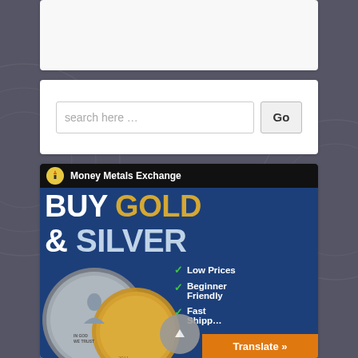[Figure (other): Partial white content card at top of page, clipped]
search here …
[Figure (infographic): Money Metals Exchange advertisement banner. Dark blue background with text: BUY GOLD & SILVER. Features coin imagery (American Silver Eagle and gold coin). Bullet points: Low Prices, Beginner Friendly, Fast Shipping. Orange Translate button at bottom right.]